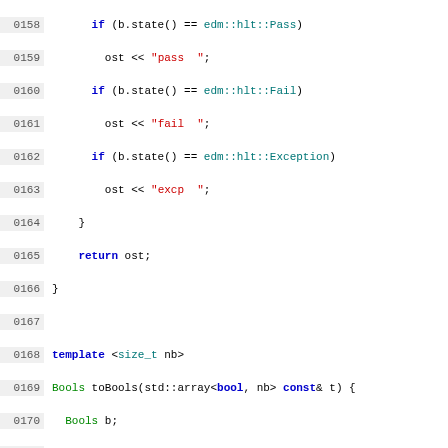[Figure (screenshot): Source code listing in C++ with syntax highlighting, showing lines 0158 to 0187. Line numbers in grey on left, code in monospace font with keyword highlighting (blue for keywords, red for strings, green/cyan for identifiers).]